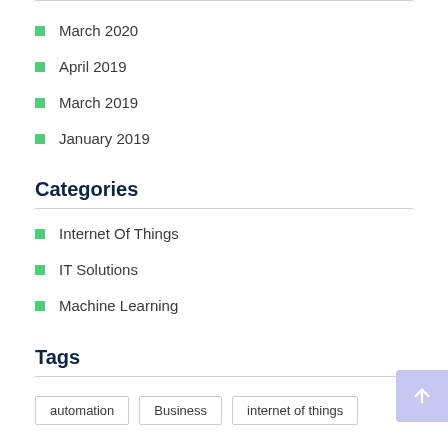March 2020
April 2019
March 2019
January 2019
Categories
Internet Of Things
IT Solutions
Machine Learning
Tags
automation
Business
internet of things